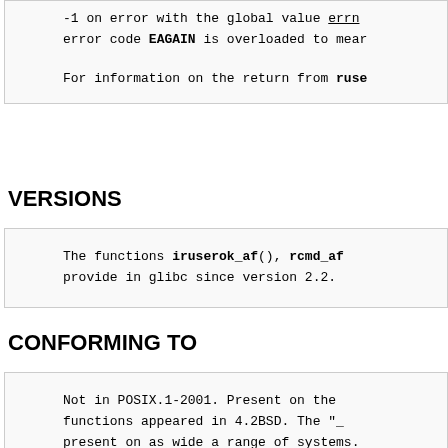-1 on error with the global value errno. The error code EAGAIN is overloaded to mean...

For information on the return from ruse...
VERSIONS
The functions iruserok_af(), rcmd_af... provide in glibc since version 2.2.
CONFORMING TO
Not in POSIX.1-2001. Present on the functions appeared in 4.2BSD. The "_ present on as wide a range of systems.